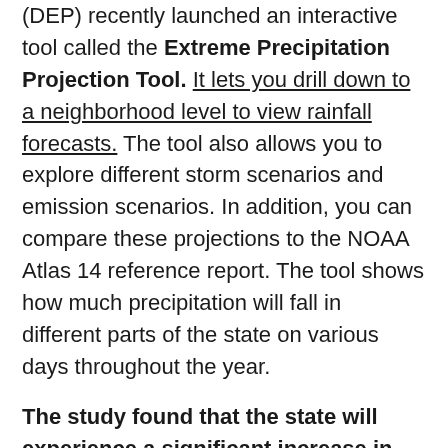(DEP) recently launched an interactive tool called the Extreme Precipitation Projection Tool. It lets you drill down to a neighborhood level to view rainfall forecasts. The tool also allows you to explore different storm scenarios and emission scenarios. In addition, you can compare these projections to the NOAA Atlas 14 reference report. The tool shows how much precipitation will fall in different parts of the state on various days throughout the year.

The study found that the state will experience a significant increase in precipitation in the coming decades. In fact, in the next century, New